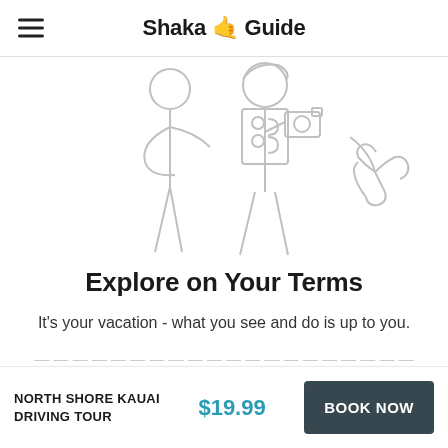Shaka 🤙 Guide
[Figure (illustration): Line drawing illustration of two people, one with a camera and one making a shaka hand gesture]
Explore on Your Terms
It's your vacation - what you see and do is up to you.
NORTH SHORE KAUAI DRIVING TOUR  $19.99  BOOK NOW